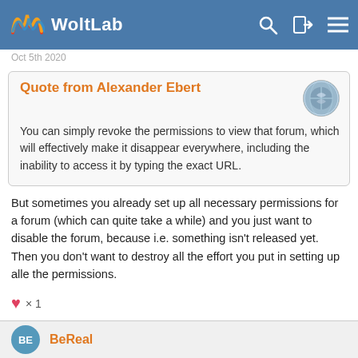WoltLab
Oct 5th 2020
Quote from Alexander Ebert

You can simply revoke the permissions to view that forum, which will effectively make it disappear everywhere, including the inability to access it by typing the exact URL.
But sometimes you already set up all necessary permissions for a forum (which can quite take a while) and you just want to disable the forum, because i.e. something isn't released yet. Then you don't want to destroy all the effort you put in setting up alle the permissions.
♥ × 1
BeReal